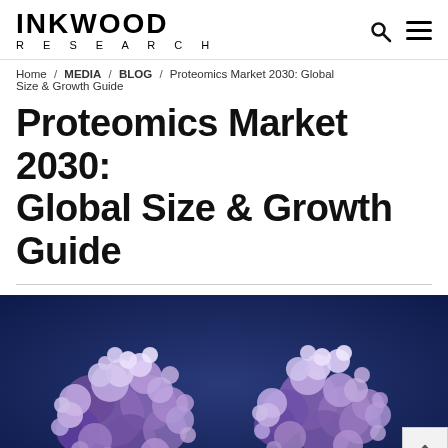INKWOOD RESEARCH
Home / MEDIA / BLOG / Proteomics Market 2030: Global Size & Growth Guide
Proteomics Market 2030: Global Size & Growth Guide
[Figure (photo): Close-up scientific illustration of protein molecules — clusters of purple and lavender spherical structures on a deep blue background, representing proteomics research.]